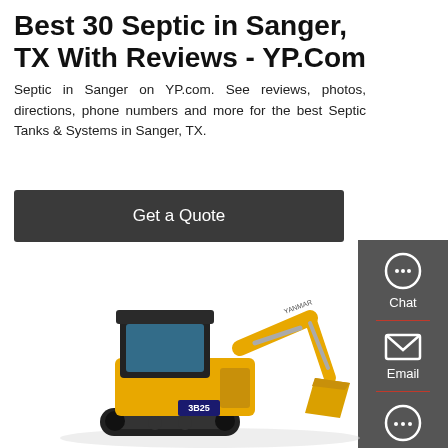Best 30 Septic in Sanger, TX With Reviews - YP.Com
Septic in Sanger on YP.com. See reviews, photos, directions, phone numbers and more for the best Septic Tanks & Systems in Sanger, TX.
Get a Quote
[Figure (screenshot): Sidebar with Chat, Email, and Contact icons on dark grey background]
[Figure (photo): Yellow mini excavator (Yanmar model 3B25) on white background]